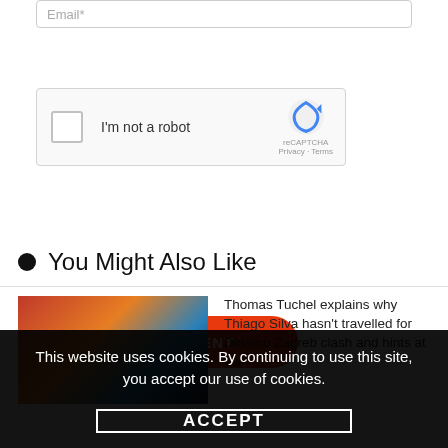[Figure (screenshot): Email input field (partially visible at top)]
[Figure (screenshot): reCAPTCHA widget with checkbox 'I'm not a robot', logo, Privacy and Terms links]
POST COMMENT
You Might Also Like
[Figure (photo): Thumbnail image for article about Thomas Tuchel and Thiago Silva]
Thomas Tuchel explains why Thiago Silva hasn't travelled for Dinamo Zagreb clash and hints at two
This website uses cookies. By continuing to use this site, you accept our use of cookies.
ACCEPT